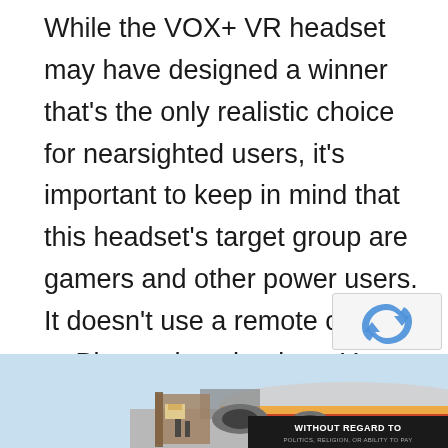While the VOX+ VR headset may have designed a winner that's the only realistic choice for nearsighted users, it's important to keep in mind that this headset's target group are gamers and other power users. It doesn't use a remote control or Bluetooth technology. You might not like it if you're akin to these solutions. But keep in mind that it offers the best 3D VR image in its price class.
[Figure (photo): Advertisement banner showing an airplane being loaded with cargo, with a dark banner overlay reading 'WITHOUT REGARD TO' and smaller text below.]